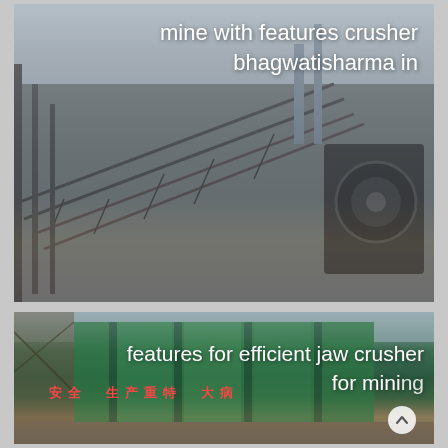[Figure (photo): Industrial mine crusher and conveyor belt installation — large steel framework conveyor belts and a jaw crusher machine visible on the right side, overcast sky background]
mine with features crusher bhagwatisharma in
[Figure (photo): Green industrial building or factory structure with Chinese safety signage reading '安全 生产重特 大病' in red text, steel scaffolding visible on the left, outdoor industrial site]
features for efficient jaw crusher for mining